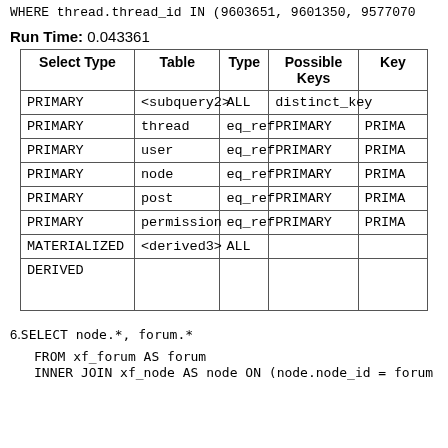WHERE thread.thread_id IN (9603651, 9601350, 9577070
Run Time: 0.043361
| Select Type | Table | Type | Possible Keys | Key |
| --- | --- | --- | --- | --- |
| PRIMARY | <subquery2> | ALL | distinct_key |  |
| PRIMARY | thread | eq_ref | PRIMARY | PRIMA |
| PRIMARY | user | eq_ref | PRIMARY | PRIMA |
| PRIMARY | node | eq_ref | PRIMARY | PRIMA |
| PRIMARY | post | eq_ref | PRIMARY | PRIMA |
| PRIMARY | permission | eq_ref | PRIMARY | PRIMA |
| MATERIALIZED | <derived3> | ALL |  |  |
| DERIVED |  |  |  |  |
6. SELECT node.*, forum.*

   FROM xf_forum AS forum
   INNER JOIN xf_node AS node ON (node.node_id = forum